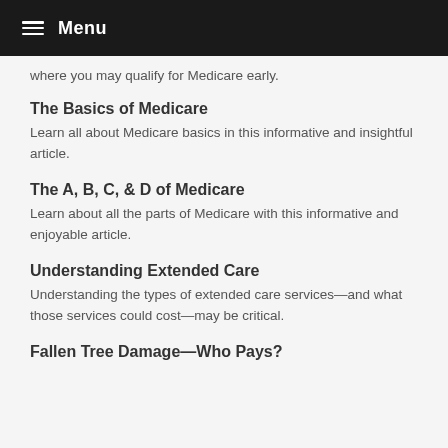Menu
where you may qualify for Medicare early.
The Basics of Medicare
Learn all about Medicare basics in this informative and insightful article.
The A, B, C, & D of Medicare
Learn about all the parts of Medicare with this informative and enjoyable article.
Understanding Extended Care
Understanding the types of extended care services—and what those services could cost—may be critical.
Fallen Tree Damage—Who Pays?